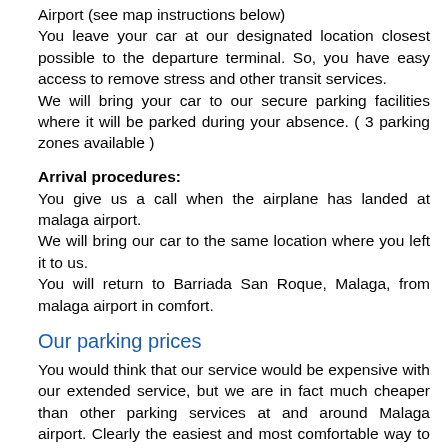Airport (see map instructions below)
You leave your car at our designated location closest possible to the departure terminal. So, you have easy access to remove stress and other transit services.
We will bring your car to our secure parking facilities where it will be parked during your absence. ( 3 parking zones available )
Arrival procedures:
You give us a call when the airplane has landed at malaga airport.
We will bring our car to the same location where you left it to us.
You will return to Barriada San Roque, Malaga, from malaga airport in comfort.
Our parking prices
You would think that our service would be expensive with our extended service, but we are in fact much cheaper than other parking services at and around Malaga airport. Clearly the easiest and most comfortable way to park at malaga airport would be to use the parking right next to the terminal. But of course, it is very expensive. So, our solution is valet parking